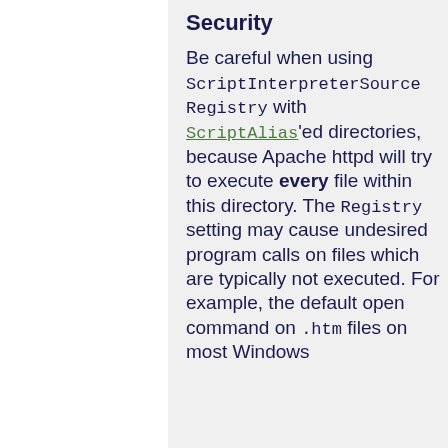Security
Be careful when using ScriptInterpreterSource Registry with ScriptAlias'ed directories, because Apache httpd will try to execute every file within this directory. The Registry setting may cause undesired program calls on files which are typically not executed. For example, the default open command on .htm files on most Windows